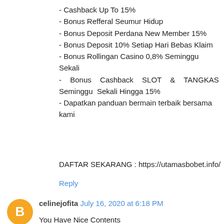- Cashback Up To 15%
- Bonus Refferal Seumur Hidup
- Bonus Deposit Perdana New Member 15%
- Bonus Deposit 10% Setiap Hari Bebas Klaim
- Bonus Rollingan Casino 0,8% Seminggu Sekali
- Bonus Cashback SLOT & TANGKAS Seminggu Sekali Hingga 15%
- Dapatkan panduan bermain terbaik bersama kami
DAFTAR SEKARANG : https://utamasbobet.info/
Reply
celinejofita  July 16, 2020 at 6:18 PM
You Have Nice Contents
"Come to my website to view the contents of my website"
SUMOBOLA - SITUS MAIN GAME ONLINE TERBESAR DI INDONESIA HANYA DENGAN 1 USER ID SUDAH BISA BERMAIN SEMUA GAME. Join US ! klik link di bawah ini ?
DAFTAR DISINI ---> WWW.SUMOBOLA.COM <---